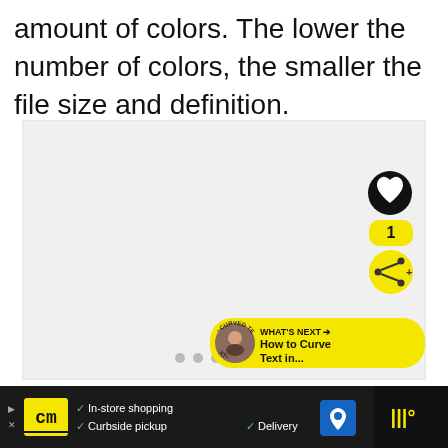amount of colors. The lower the number of colors, the smaller the file size and definition.
[Figure (screenshot): A light gray placeholder image area with UI overlay elements: a heart/like button (black circle), a count badge showing '1' (yellow), a share button (yellow circle with share icon), a 'WHAT'S NEXT → How to Curve Text in...' banner (yellow pill with avatar), and three gray dots indicating a slideshow.]
[Figure (infographic): Bottom advertisement bar showing CM (CourseMe) logo in yellow, checkmarks for 'In-store shopping', 'Curbside pickup', 'Delivery', a blue map/navigation icon, and a dark right panel with yellow sound wave icon.]